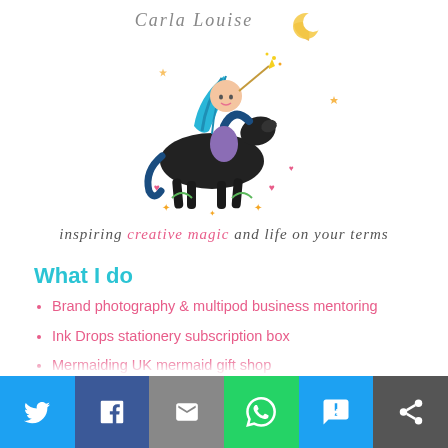[Figure (logo): Carla Louise brand logo: girl with blue hair riding a black horse, with moon and decorative elements, with script text 'Carla Louise' above]
inspiring creative magic and life on your terms
What I do
Brand photography & multipod business mentoring
Ink Drops stationery subscription box
Mermaiding UK mermaid gift shop
[Figure (infographic): Social share bar at bottom with Twitter, Facebook, Email, WhatsApp, SMS, and more icons on colored backgrounds]